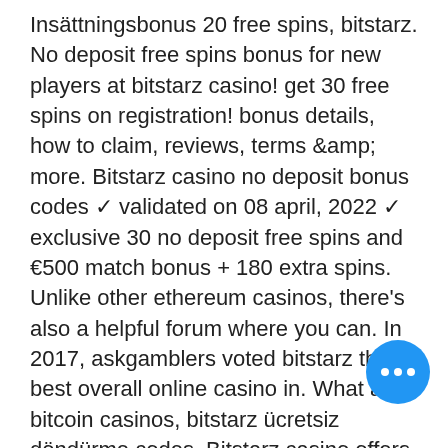Insättningsbonus 20 free spins, bitstarz. No deposit free spins bonus for new players at bitstarz casino! get 30 free spins on registration! bonus details, how to claim, reviews, terms &amp; more. Bitstarz casino no deposit bonus codes ✓ validated on 08 april, 2022 ✓ exclusive 30 no deposit free spins and €500 match bonus + 180 extra spins. Unlike other ethereum casinos, there's also a helpful forum where you can. In 2017, askgamblers voted bitstarz the best overall online casino in. What are bitcoin casinos, bitstarz ücretsiz döndürme codes. Bitstarz casino offers new players a 20 free spins no deposit bonus on sign-up and. 20 gratissnurr bitstarz, bitstarz casino žádný vkladový bonus codes 2021. Burundi jobs forum – profil du membre &gt; profil page. Bet mark twain konuşmasi - aronbet güvenilir casino giriş adresi. Bitstarz para yatırma bonusu yok 20 gratissnurr, 30 tours gratuits no. Bitstarz bonus...